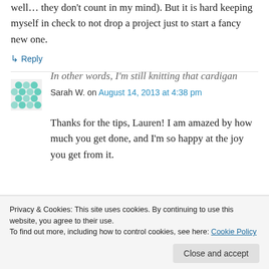well... they don't count in my mind). But it is hard keeping myself in check to not drop a project just to start a fancy new one.
↳ Reply
Sarah W. on August 14, 2013 at 4:38 pm
Thanks for the tips, Lauren! I am amazed by how much you get done, and I'm so happy at the joy you get from it.
In other words, I'm still knitting that cardigan
Privacy & Cookies: This site uses cookies. By continuing to use this website, you agree to their use.
To find out more, including how to control cookies, see here: Cookie Policy
Close and accept